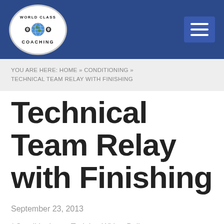[Figure (logo): World Class Coaching logo — oval with globe graphic, soccer balls, text 'WORLD CLASS COACHING']
YOU ARE HERE: HOME » CONDITIONING » TECHNICAL TEAM RELAY WITH FINISHING
Technical Team Relay with Finishing
September 23, 2013
/ Conditioning   Training With a Ball
/ By Michael Saif / 6 COMMENTS